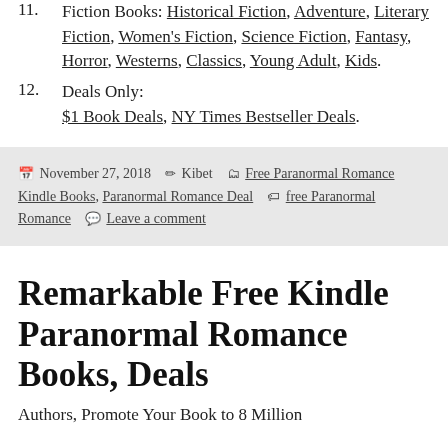11. Fiction Books: Historical Fiction, Adventure, Literary Fiction, Women's Fiction, Science Fiction, Fantasy, Horror, Westerns, Classics, Young Adult, Kids.
12. Deals Only: $1 Book Deals, NY Times Bestseller Deals.
November 27, 2018  Kibet  Free Paranormal Romance Kindle Books, Paranormal Romance Deal  free Paranormal Romance  Leave a comment
Remarkable Free Kindle Paranormal Romance Books, Deals
Authors, Promote Your Book to 8 Million